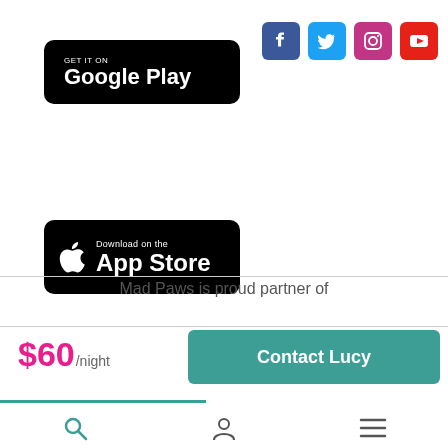[Figure (logo): Google Play Store badge - black rounded rectangle with Play icon and 'GET IT ON Google Play' text]
[Figure (logo): Apple App Store badge - black rounded rectangle with Apple icon and 'Download on the App Store' text]
[Figure (logo): Social media icons: Facebook, Twitter, Instagram, YouTube]
Mad Paws is proud partner of
$60/night
Contact Lucy